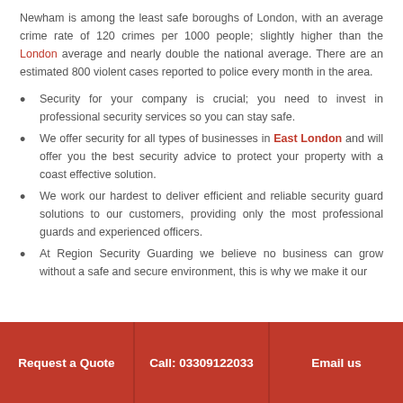Newham is among the least safe boroughs of London, with an average crime rate of 120 crimes per 1000 people; slightly higher than the London average and nearly double the national average. There are an estimated 800 violent cases reported to police every month in the area.
Security for your company is crucial; you need to invest in professional security services so you can stay safe.
We offer security for all types of businesses in East London and will offer you the best security advice to protect your property with a coast effective solution.
We work our hardest to deliver efficient and reliable security guard solutions to our customers, providing only the most professional guards and experienced officers.
At Region Security Guarding we believe no business can grow without a safe and secure environment, this is why we make it our
Request a Quote | Call: 03309122033 | Email us